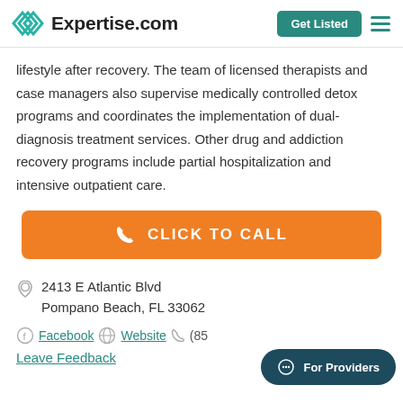Expertise.com | Get Listed
lifestyle after recovery. The team of licensed therapists and case managers also supervise medically controlled detox programs and coordinates the implementation of dual-diagnosis treatment services. Other drug and addiction recovery programs include partial hospitalization and intensive outpatient care.
[Figure (other): Orange CLICK TO CALL button with phone icon]
2413 E Atlantic Blvd
Pompano Beach, FL 33062
Facebook  Website  (85...
Leave Feedback
[Figure (other): For Providers dark teal pill button with chat icon]